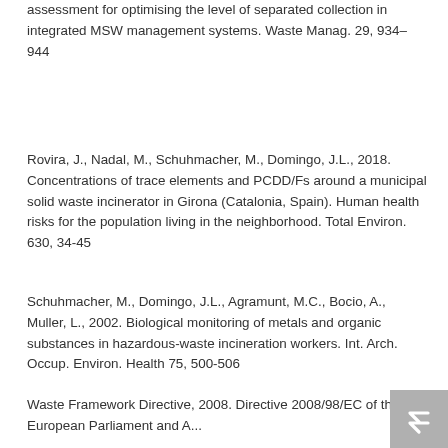assessment for optimising the level of separated collection in integrated MSW management systems. Waste Manag. 29, 934–944
Rovira, J., Nadal, M., Schuhmacher, M., Domingo, J.L., 2018. Concentrations of trace elements and PCDD/Fs around a municipal solid waste incinerator in Girona (Catalonia, Spain). Human health risks for the population living in the neighborhood. Total Environ. 630, 34-45
Schuhmacher, M., Domingo, J.L., Agramunt, M.C., Bocio, A., Muller, L., 2002. Biological monitoring of metals and organic substances in hazardous-waste incineration workers. Int. Arch. Occup. Environ. Health 75, 500-506
Waste Framework Directive, 2008. Directive 2008/98/EC of the European Parliament and the...